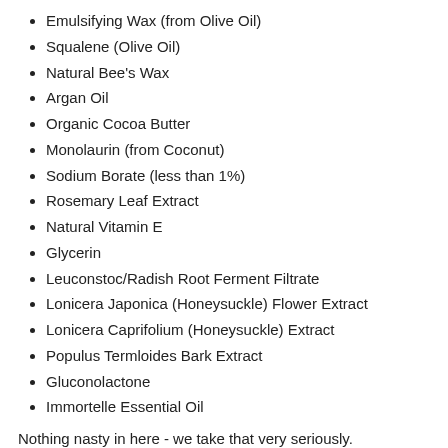Emulsifying Wax (from Olive Oil)
Squalene (Olive Oil)
Natural Bee's Wax
Argan Oil
Organic Cocoa Butter
Monolaurin (from Coconut)
Sodium Borate (less than 1%)
Rosemary Leaf Extract
Natural Vitamin E
Glycerin
Leuconstoc/Radish Root Ferment Filtrate
Lonicera Japonica (Honeysuckle) Flower Extract
Lonicera Caprifolium (Honeysuckle) Extract
Populus Termloides Bark Extract
Gluconolactone
Immortelle Essential Oil
Nothing nasty in here - we take that very seriously.
Suitable for all skin types.